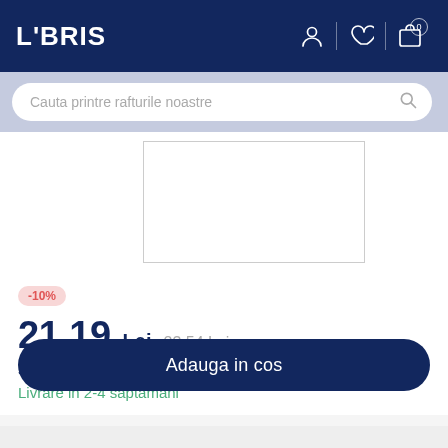LIBRIS
Cauta printre rafturile noastre
[Figure (other): Book product image placeholder (white rectangle with border)]
-10%
21.19 Lei  23.54 Lei
Sau 2119 de puncte
Livrare in 2-4 saptamani
Adauga in cos